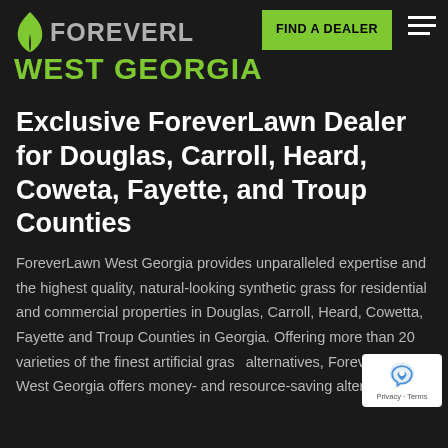[Figure (logo): ForeverLawn West Georgia logo with green leaf icon and text]
FIND A DEALER
Exclusive ForeverLawn Dealer for Douglas, Carroll, Heard, Coweta, Fayette, and Troup Counties
ForeverLawn West Georgia provides unparalleled expertise and the highest quality, natural-looking synthetic grass for residential and commercial properties in Douglas, Carroll, Heard, Cowetta, Fayette and Troup Counties in Georgia. Offering more than 20 varieties of the finest artificial grass alternatives, ForeverLawn West Georgia offers money- and resource-saving alternatives to